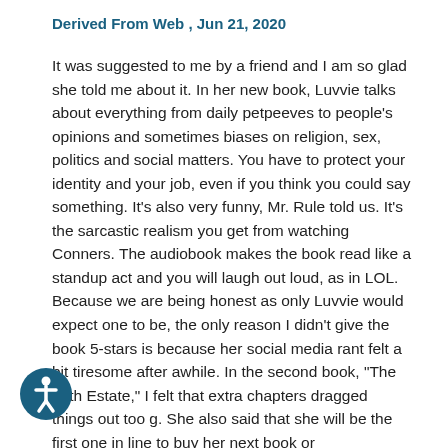Derived From Web , Jun 21, 2020
It was suggested to me by a friend and I am so glad she told me about it. In her new book, Luvvie talks about everything from daily petpeeves to people's opinions and sometimes biases on religion, sex, politics and social matters. You have to protect your identity and your job, even if you think you could say something. It's also very funny, Mr. Rule told us. It's the sarcastic realism you get from watching Conners. The audiobook makes the book read like a standup act and you will laugh out loud, as in LOL. Because we are being honest as only Luvvie would expect one to be, the only reason I didn't give the book 5-stars is because her social media rant felt a bit tiresome after awhile. In the second book, "The Fifth Estate," I felt that extra chapters dragged things out too g. She also said that she will be the first one in line to buy her next book or